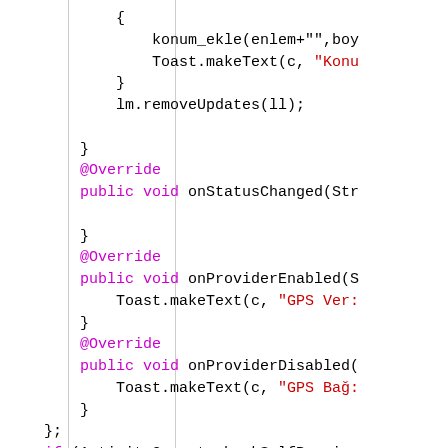[Figure (screenshot): Source code screenshot showing Java/Android code with syntax highlighting. Purple keywords, red string literals, black identifiers. Code includes konum_ekle, Toast.makeText, lm.removeUpdates, @Override annotations, onStatusChanged, onProviderEnabled, onProviderDisabled, if (ActivityCompat.checkSelfPermiss..., networkinfo!=null&&networkinfo., lm.requestLocationUpdates(Locat...]